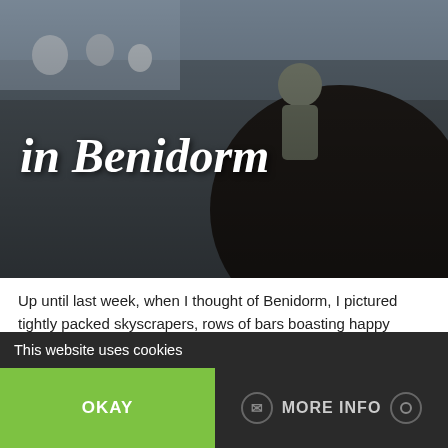[Figure (photo): Hero photo showing a child climbing on a large cannon or similar object, with crowds in the background. Dark toned travel photo.]
in Benidorm
Up until last week, when I thought of Benidorm, I pictured tightly packed skyscrapers, rows of bars boasting happy hours and sunburnt groups of English stag and hen parties trawling from one pub to the next for yet another cheap pint; all making me feel a tiny bit embarrassed to be English. So when the Spanish Tourist Board invited us to join a blog trip to explore things to do in Benidorm for families, I was intrigued about what we might discover in this town notorious for partying.
This website uses cookies
OKAY
MORE INFO